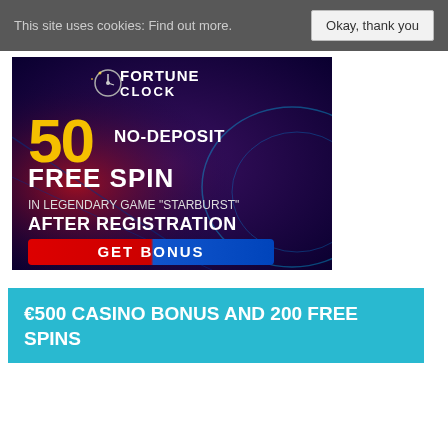This site uses cookies: Find out more. | Okay, thank you
[Figure (screenshot): Fortune Clock casino advertisement banner showing '50 NO-DEPOSIT FREE SPIN IN LEGENDARY GAME STARBURST AFTER REGISTRATION' with a GET BONUS button on a dark purple/blue background with neon effects]
€500 CASINO BONUS AND 200 FREE SPINS